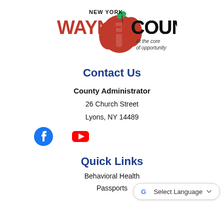[Figure (logo): New York Wayne County logo with apple graphic and tagline 'At the core of opportunity']
Contact Us
County Administrator
26 Church Street
Lyons, NY 14489
[Figure (illustration): Facebook and YouTube social media icons]
Quick Links
Behavioral Health
Passports